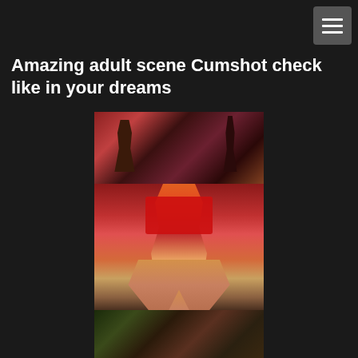☰ menu icon
Amazing adult scene Cumshot check like in your dreams
[Figure (illustration): 3D rendered adult animation images arranged vertically: top panel shows two dark-haired figures in a fantasy room setting, middle panel shows a blonde figure in red outfit posed against a wooden fence, bottom panel shows two figures in a dark fantasy scene]